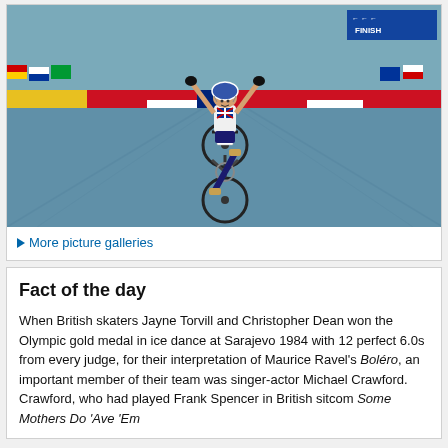[Figure (photo): A cyclist wearing a GBR jersey with number 30, arms raised in celebration, crossing the finish line on a blue-paved track surrounded by advertising banners and flags.]
More picture galleries
Fact of the day
When British skaters Jayne Torvill and Christopher Dean won the Olympic gold medal in ice dance at Sarajevo 1984 with 12 perfect 6.0s from every judge, for their interpretation of Maurice Ravel's Boléro, an important member of their team was singer-actor Michael Crawford. Crawford, who had played Frank Spencer in British sitcom Some Mothers Do 'Ave 'Em